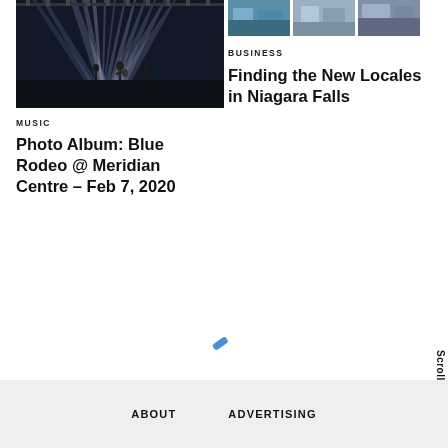[Figure (photo): Concert photo showing a performer on stage with dramatic white light beams in a dark venue, Blue Rodeo at Meridian Centre]
MUSIC
Photo Album: Blue Rodeo @ Meridian Centre – Feb 7, 2020
[Figure (photo): Three small thumbnail images side by side showing buildings/exterior scenes related to Niagara Falls business article]
BUSINESS
Finding the New Locales in Niagara Falls
[Figure (illustration): Small blue loading pencil/spinner icon]
ABOUT   ADVERTISING
Scroll To Top